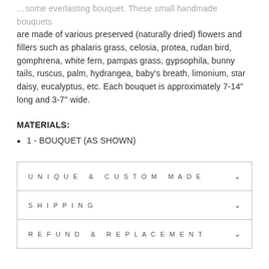…some everlasting bouquet. These small handmade bouquets are made of various preserved (naturally dried) flowers and fillers such as phalaris grass, celosia, protea, rudan bird, gomphrena, white fern, pampas grass, gypsophila, bunny tails, ruscus, palm, hydrangea, baby's breath, limonium, star daisy, eucalyptus, etc. Each bouquet is approximately 7-14" long and 3-7" wide.
MATERIALS:
1 - BOUQUET (AS SHOWN)
UNIQUE & CUSTOM MADE
SHIPPING
REFUND & REPLACEMENT